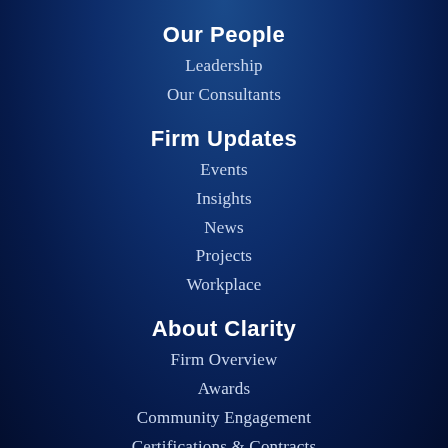Our People
Leadership
Our Consultants
Firm Updates
Events
Insights
News
Projects
Workplace
About Clarity
Firm Overview
Awards
Community Engagement
Certifications & Contracts
Join Our Team